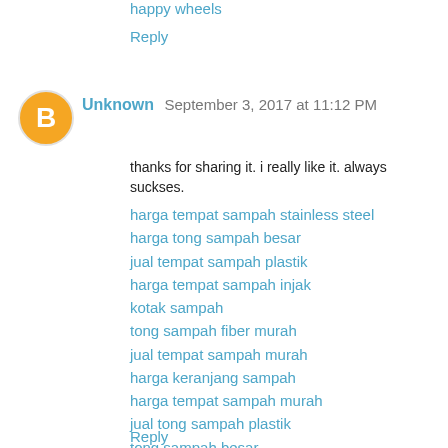happy wheels
Reply
Unknown  September 3, 2017 at 11:12 PM
thanks for sharing it. i really like it. always suckses.
harga tempat sampah stainless steel
harga tong sampah besar
jual tempat sampah plastik
harga tempat sampah injak
kotak sampah
tong sampah fiber murah
jual tempat sampah murah
harga keranjang sampah
harga tempat sampah murah
jual tong sampah plastik
tong sampah besar
harga bak sampah fiber
harga tempat sampah stainless
tempat sampah stainless steel
daftar harga tempat sampah plastik
Reply